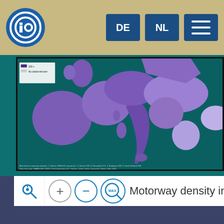[Figure (screenshot): Website navigation bar with circular blue logo (IO), language buttons DE and NL, and hamburger menu, on a tan/khaki background]
[Figure (map): Partial view of a motorway density map of Europe showing countries colored in shades of purple/blue on a teal background, with a legend showing density ranges and 'No data/unknown' category, and credits at the bottom]
Motorway density in Europe